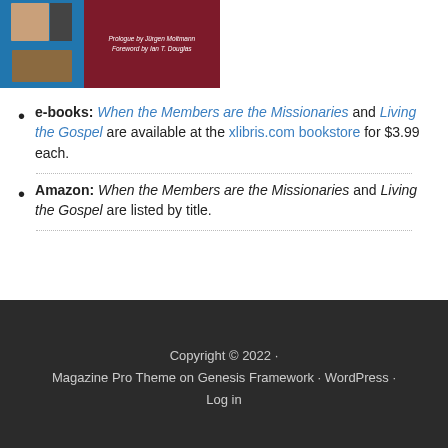[Figure (illustration): Book cover image showing faces on blue and dark red background with text: Prologue by Jürgen Moltmann, Foreword by Ian T. Douglas]
e-books: When the Members are the Missionaries and Living the Gospel are available at the xlibris.com bookstore for $3.99 each.
Amazon: When the Members are the Missionaries and Living the Gospel are listed by title.
Copyright © 2022 · Magazine Pro Theme on Genesis Framework · WordPress · Log in